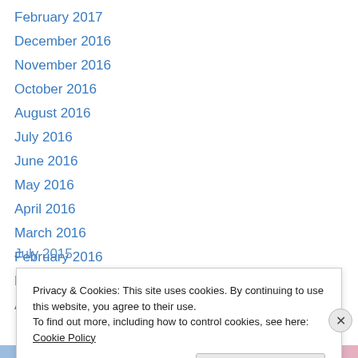February 2017
December 2016
November 2016
October 2016
August 2016
July 2016
June 2016
May 2016
April 2016
March 2016
February 2016
December 2015
August 2015
July 2015
Privacy & Cookies: This site uses cookies. By continuing to use this website, you agree to their use. To find out more, including how to control cookies, see here: Cookie Policy
Close and accept